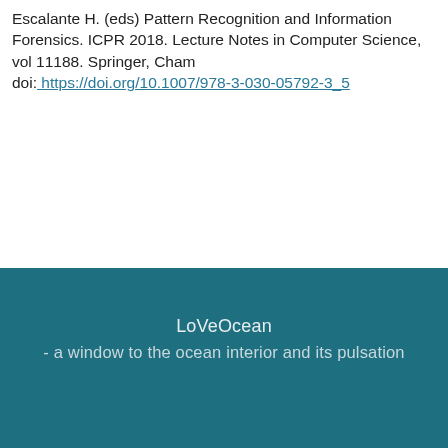Escalante H. (eds) Pattern Recognition and Information Forensics. ICPR 2018. Lecture Notes in Computer Science, vol 11188. Springer, Cham doi: https://doi.org/10.1007/978-3-030-05792-3_5
LoVeOcean
- a window to the ocean interior and its pulsation